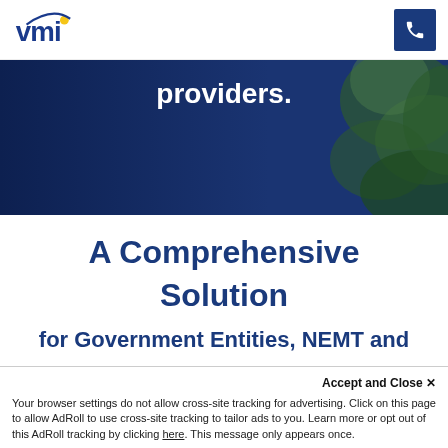[Figure (logo): VMI company logo with blue text and yellow dot accent, with a blue phone button on the right]
[Figure (photo): Dark blue hero banner with text 'providers.' in white bold font, and green foliage/leaves visible on the right side]
A Comprehensive Solution
for Government Entities, NEMT and
Accept and Close ×
Your browser settings do not allow cross-site tracking for advertising. Click on this page to allow AdRoll to use cross-site tracking to tailor ads to you. Learn more or opt out of this AdRoll tracking by clicking here. This message only appears once.